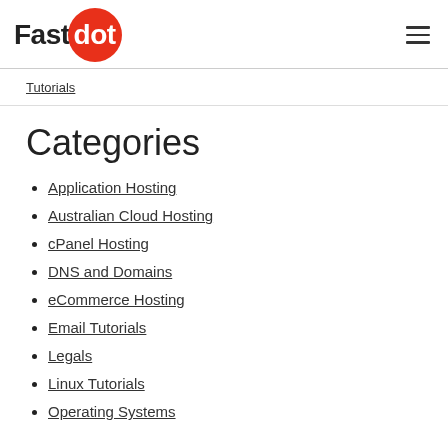[Figure (logo): Fastdot logo: 'Fast' in black bold text followed by 'dot' in white bold text inside a red circle]
Tutorials
Categories
Application Hosting
Australian Cloud Hosting
cPanel Hosting
DNS and Domains
eCommerce Hosting
Email Tutorials
Legals
Linux Tutorials
Operating Systems